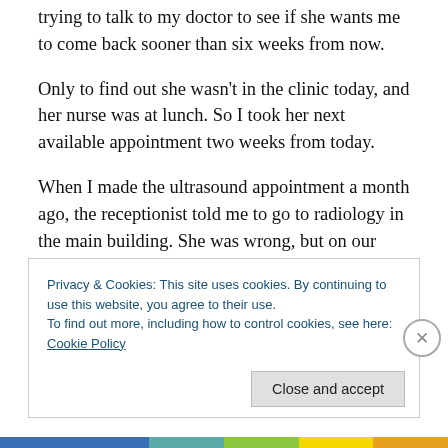So I started on the day spending twenty minutes on hold trying to talk to my doctor to see if she wants me to come back sooner than six weeks from now.
Only to find out she wasn't in the clinic today, and her nurse was at lunch. So I took her next available appointment two weeks from today.
When I made the ultrasound appointment a month ago, the receptionist told me to go to radiology in the main building. She was wrong, but on our way out, who did we run into but my doctor! While my husband went to get the
Privacy & Cookies: This site uses cookies. By continuing to use this website, you agree to their use.
To find out more, including how to control cookies, see here: Cookie Policy